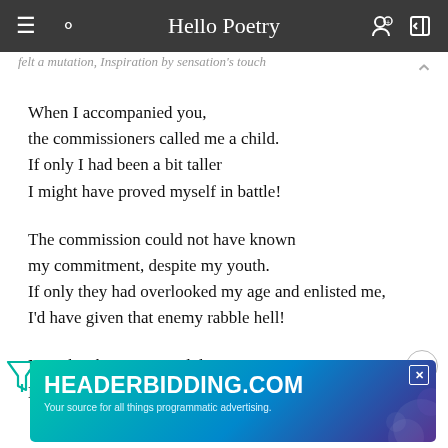Hello Poetry
felt a mutation, Inspiration by sensation's touch
When I accompanied you,
the commissioners called me a child.
If only I had been a bit taller
I might have proved myself in battle!

The commission could not have known
my commitment, despite my youth.
If only they had overlooked my age and enlisted me,
I'd have given that enemy rabble hell!

Now, brother, I'm an adult.
Doubtless, I'll join the service soon.
[Figure (screenshot): Advertisement banner for HEADERBIDDING.COM — 'Your source for all things programmatic advertising.' with teal/blue/purple gradient background]